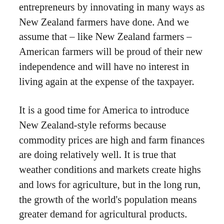entrepreneurs by innovating in many ways as New Zealand farmers have done. And we assume that – like New Zealand farmers – American farmers will be proud of their new independence and will have no interest in living again at the expense of the taxpayer.
It is a good time for America to introduce New Zealand-style reforms because commodity prices are high and farm finances are doing relatively well. It is true that weather conditions and markets create highs and lows for agriculture, but in the long run, the growth of the world's population means greater demand for agricultural products.
Stopping agricultural subsidies in New Zealand has created a dynamic, diverse and growing rural economy, and has discredited the myth that agriculture can not live without subsidies. So instead of taxing the taxpayers who can no longer afford it, it is time for the US Congress to backtrack and consider an alternative